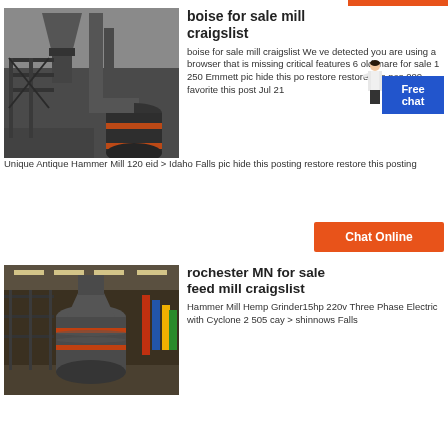[Figure (photo): Industrial hammer mill machinery with cyclone dust collector and pipes, metal structure, black equipment]
boise for sale mill craigslist
boise for sale mill craigslist We ve detected you are using a browser that is missing critical features 6 old mare for sale 1 250 Emmett pic hide this po restore restore this pos 000 favorite this post Jul 21
[Figure (illustration): Free chat widget with person illustration and blue button]
Unique Antique Hammer Mill 120 eid > Idaho Falls pic hide this posting restore restore this posting
[Figure (photo): Orange Chat Online button]
[Figure (photo): Hammer mill equipment in a warehouse with flags in background]
rochester MN for sale feed mill craigslist
Hammer Mill Hemp Grinder15hp 220v Three Phase Electric with Cyclone 2 505 cay > shinnows Falls